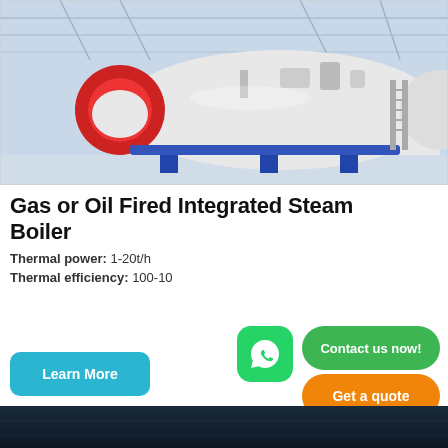[Figure (photo): Industrial gas or oil fired integrated steam boiler in a large factory/warehouse setting with blue steel frame, white cylindrical tank, red burner end, in a bright blue-toned industrial building interior.]
Gas or Oil Fired Integrated Steam Boiler
Thermal power: 1-20t/h
Thermal efficiency: 100-10...
Learn More
Contact us now!
Get a quote
[Figure (photo): Partial dark blue industrial/factory background image at the bottom of the page.]